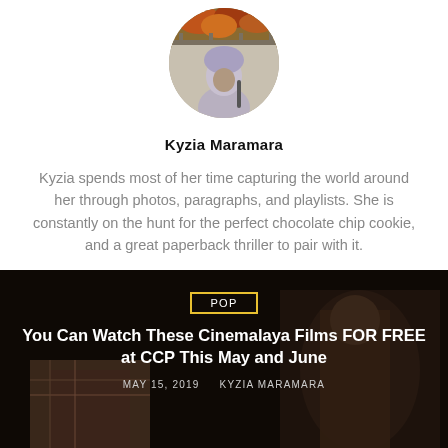[Figure (photo): Circular profile photo of a person wearing a hoodie outdoors with autumn foliage in background]
Kyzia Maramara
Kyzia spends most of her time capturing the world around her through photos, paragraphs, and playlists. She is constantly on the hunt for the perfect chocolate chip cookie, and a great paperback thriller to pair with it.
[Figure (logo): LinkedIn 'in' logo icon]
[Figure (photo): Dark movie still showing a person in a market scene — background image for article card]
POP
You Can Watch These Cinemalaya Films FOR FREE at CCP This May and June
MAY 15, 2019 · KYZIA MARAMARA